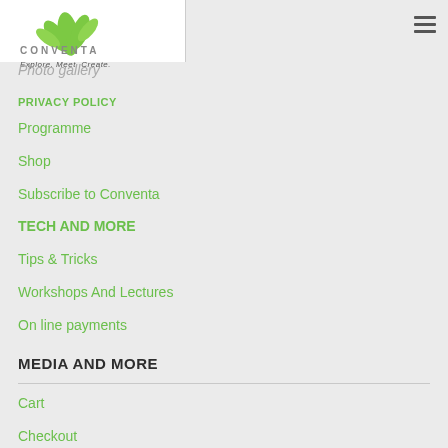[Figure (logo): Conventa logo with green leaf graphic, text CONVENTA and tagline Explore. Meet. Create.]
Photo gallery
PRIVACY POLICY
Programme
Shop
Subscribe to Conventa
TECH AND MORE
Tips & Tricks
Workshops And Lectures
On line payments
MEDIA AND MORE
Cart
Checkout